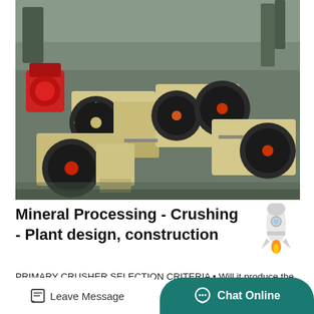[Figure (photo): Industrial jaw crushers with large flywheels in cream/beige and black colors, multiple units displayed in a factory/warehouse setting.]
Mineral Processing - Crushing - Plant design, construction
PRIMARY CRUSHER SELECTION CRITERIA • Will it produce the desired product size at required capacity. Will it accept the
Leave Message
Chat Online